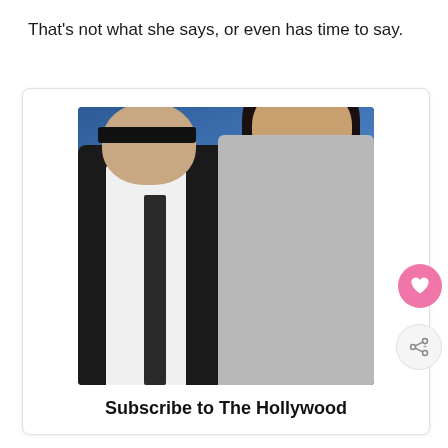That's not what she says, or even has time to say.
[Figure (photo): Photo of two celebrities at a formal event in front of a blue backdrop. On the left, a man wearing dark rectangular sunglasses, a black suit jacket, white dress shirt, and black tie. On the right, a woman with long dark hair wearing a silver/grey sparkly turtleneck top. Text on backdrop partially visible: 'WH' and 'White'.]
Subscribe to The Hollywood